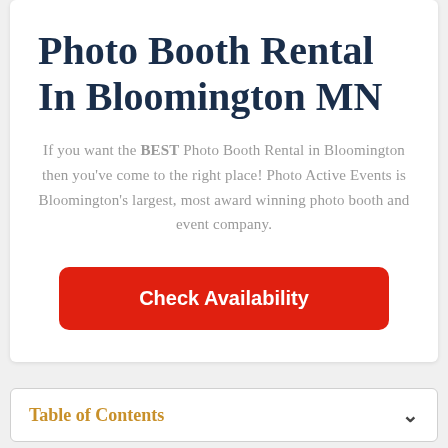Photo Booth Rental In Bloomington MN
If you want the BEST Photo Booth Rental in Bloomington then you've come to the right place! Photo Active Events is Bloomington's largest, most award winning photo booth and event company.
Check Availability
Table of Contents